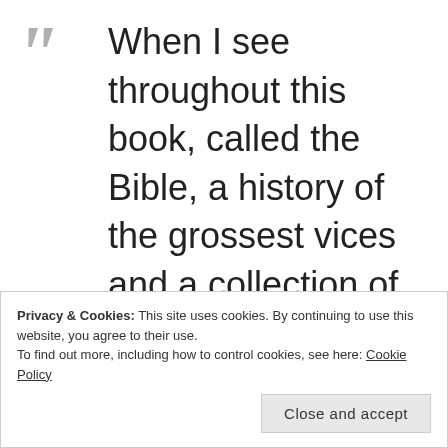When I see throughout this book, called the Bible, a history of the grossest vices and a collection of the most paltry and contemptible tales and stories, I could not so dishonor my Creator by calling it by His name
Privacy & Cookies: This site uses cookies. By continuing to use this website, you agree to their use.
To find out more, including how to control cookies, see here: Cookie Policy
Close and accept